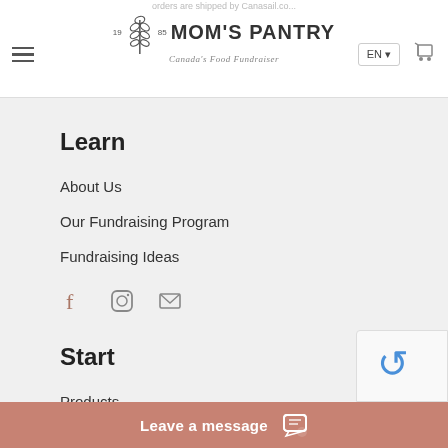MOM'S PANTRY — Canada's Food Fundraiser — EN — Cart
Learn
About Us
Our Fundraising Program
Fundraising Ideas
[Figure (infographic): Social media icons: Facebook, Instagram, Email]
Start
Products
Request an Information Kit
Start a Fundraiser
Leave a message